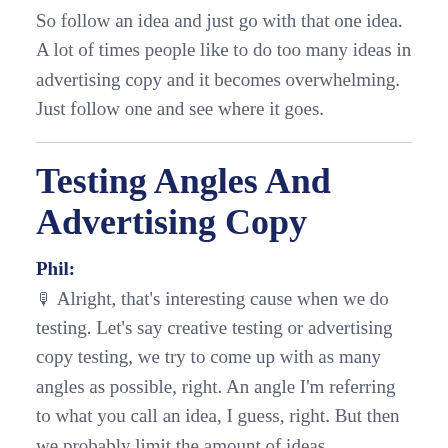So follow an idea and just go with that one idea. A lot of times people like to do too many ideas in advertising copy and it becomes overwhelming. Just follow one and see where it goes.
Testing Angles And Advertising Copy
Phil: 🎙 Alright, that's interesting cause when we do testing. Let's say creative testing or advertising copy testing, we try to come up with as many angles as possible, right. An angle I'm referring to what you call an idea, I guess, right. But then we probably limit the amount of ideas